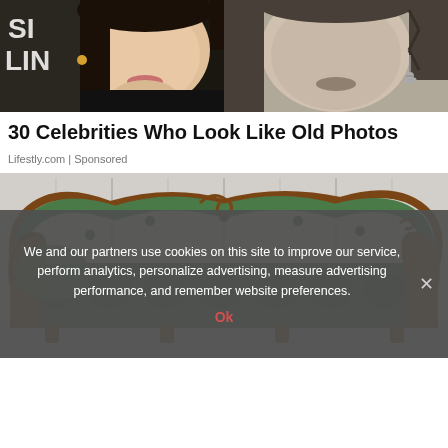[Figure (photo): Two photos side by side: left is a color photo of a young woman's face at a Hollywood event with text 'SIE' and 'LIN' visible on a backdrop; right is a black and white vintage-style photo of a woman with braided hair and chandelier earring.]
30 Celebrities Who Look Like Old Photos
Lifestly.com | Sponsored
[Figure (photo): A green velvet tufted Victorian-style chaise lounge sofa with ornate wooden carved frame, against a white paneled wall background.]
We and our partners use cookies on this site to improve our service, perform analytics, personalize advertising, measure advertising performance, and remember website preferences.
Ok